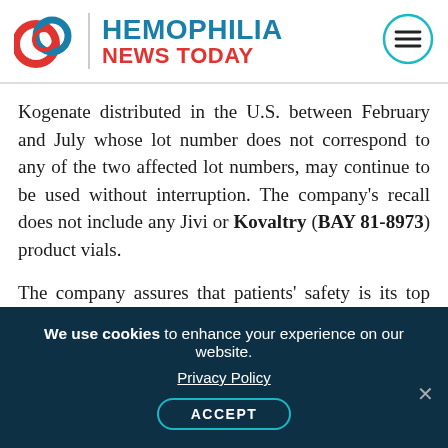[Figure (logo): Hemophilia News Today logo with red interlocking circles icon, teal 'HEMOPHILIA' text and red 'NEWS TODAY' text, and a teal hamburger menu circle button]
Kogenate distributed in the U.S. between February and July whose lot number does not correspond to any of the two affected lot numbers, may continue to be used without interruption. The company's recall does not include any Jivi or Kovaltry (BAY 81-8973) product vials.
The company assures that patients' safety is its top priority. The public announcement acknowledging product mislabeling was released as soon as the company identified the issue earlier in the same week. In the meantime the FDA also has been
We use cookies to enhance your experience on our website. Privacy Policy ACCEPT